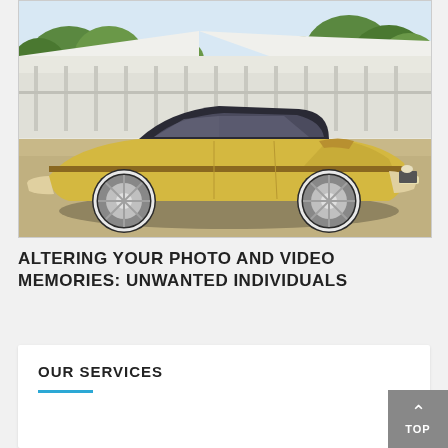[Figure (photo): Vintage yellow Ford Mustang Mach 1 muscle car parked in front of a white commercial building with large windows, trees in background, sunny day]
ALTERING YOUR PHOTO AND VIDEO MEMORIES: UNWANTED INDIVIDUALS
OUR SERVICES